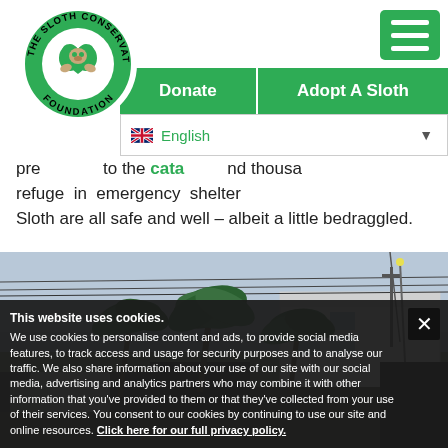[Figure (logo): The Sloth Conservation Foundation circular logo - green circle with white sloth heart design]
[Figure (other): Green hamburger menu icon button]
[Figure (other): Green navigation bar with Donate and Adopt A Sloth buttons, and English language selector]
pre... to the cata... and thousands refuge in emergency shelter Sloth are all safe and well – albeit a little bedraggled.
[Figure (photo): Photograph of a tropical scene with palm trees, a white building, and utility wires against an overcast sky]
This website uses cookies. We use cookies to personalise content and ads, to provide social media features, to track access and usage for security purposes and to analyse our traffic. We also share information about your use of our site with our social media, advertising and analytics partners who may combine it with other information that you've provided to them or that they've collected from your use of their services. You consent to our cookies by continuing to use our site and online resources. Click here for our full privacy policy.